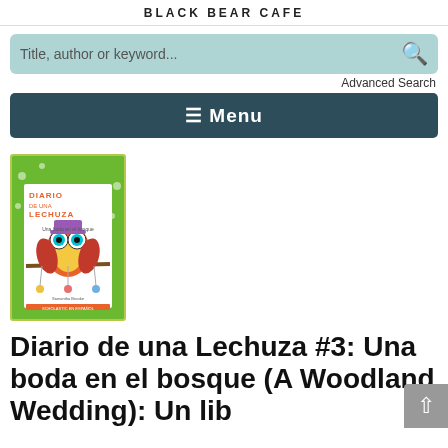BLACK BEAR CAFE
Title, author or keyword...
Advanced Search
≡ Menu
[Figure (illustration): Book cover for 'Diario de una Lechuza #3: Una boda en el bosque' showing a colorful cartoon owl with a purple hat sitting on a branch, on a green background with polka dots. Published by Scholastic.]
Diario de una Lechuza #3: Una boda en el bosque (A Woodland Wedding): Un lib...